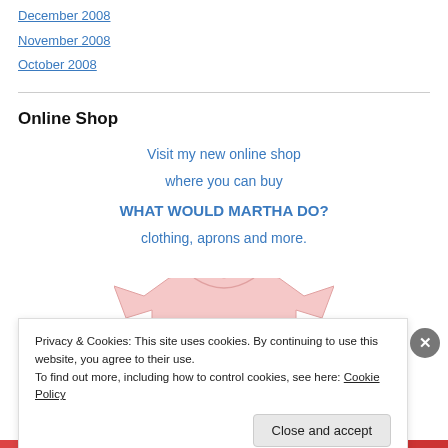December 2008
November 2008
October 2008
Online Shop
Visit my new online shop
where you can buy
WHAT WOULD MARTHA DO?
clothing, aprons and more.
[Figure (photo): Pink t-shirt partially visible at the bottom of the online shop section]
Privacy & Cookies: This site uses cookies. By continuing to use this website, you agree to their use.
To find out more, including how to control cookies, see here: Cookie Policy
Close and accept